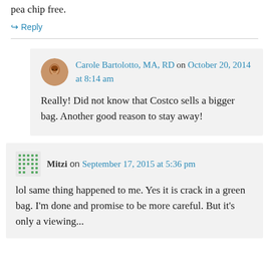pea chip free.
↪ Reply
Carole Bartolotto, MA, RD on October 20, 2014 at 8:14 am
Really! Did not know that Costco sells a bigger bag. Another good reason to stay away!
Mitzi on September 17, 2015 at 5:36 pm
lol same thing happened to me. Yes it is crack in a green bag. I'm done and promise to be more careful. But it's only a viewing...